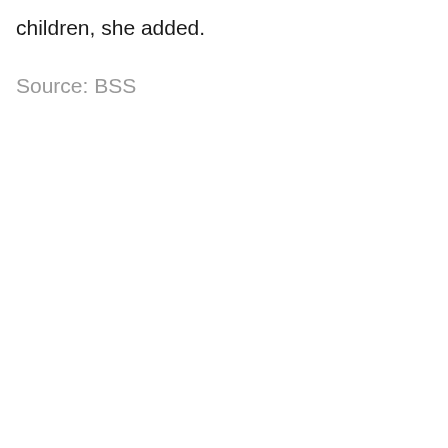children, she added.
Source: BSS